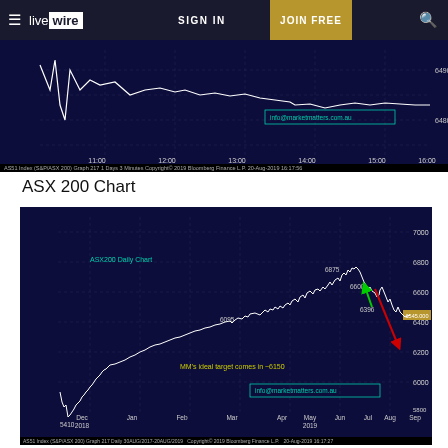live wire | SIGN IN | JOIN FREE
[Figure (continuous-plot): Intraday ASX 200 (S&P/ASX 200) price chart for 20 Aug 2019, 3-minute bars, showing price range approximately 6480-6490. Time axis shows 11:00 to 16:00. Label: info@marketmatters.com.au. Source: Bloomberg Finance L.P. 20-Aug-2019 16:17:56]
ASX 200 Chart
[Figure (continuous-plot): ASX200 Daily Chart showing price from Dec 2018 to Sep 2019. Key levels marked: 5410 (low Dec 2018), 6095 (mid), 6600, 6875 (high Jul/Aug 2019), 6396, 6545.000 (current). Green arrow pointing up from ~6396 to ~6600, red arrow pointing down from ~6600 toward ~6200. Text: MM's ideal target comes in ~6150. Email: info@marketmatters.com.au. Source: Bloomberg Finance L.P. 20-Aug-2019 16:17:27]